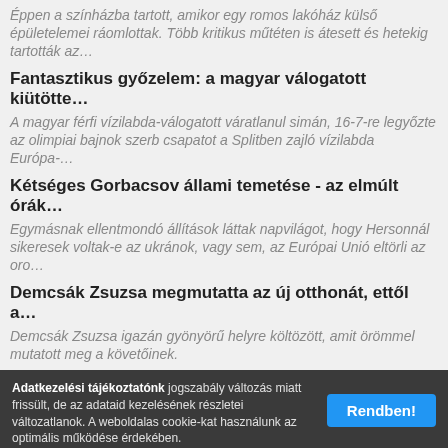Éppen a színházba tartott, amikor egy romos lakóház külső épületelemei ráomlottak. Több kritikus műtéten is átesett és hetekig tartották az…
Fantasztikus győzelem: a magyar válogatott kiütötte…
A magyar férfi vízilabda-válogatott váratlanul simán, 16-7-re legyőzte az olimpiai bajnok szerb csapatot a Splitben zajló vízilabda Európa-…
Kétséges Gorbacsov állami temetése - az elmúlt órák…
Egymásnak ellentmondó állítások láttak napvilágot, hogy Hersonnál sikeresek voltak-e az ukránok, vagy sem, az Európai Unió eltörli az oro…
Demcsák Zsuzsa megmutatta az új otthonát, ettől a…
Demcsák Zsuzsa igazán gyönyörű helyre költözött, amit örömmel mutatott meg a követőinek.
Az új tűzifa-rendelet a szegény háztartásokat szorítja…
Az energiaátmenet már a COVID-járvány előtt is lassú volt, azonban a Visegrádi Négyek és benne Magyarország váltása európai…
Rónai Dániel: Többmilliós fizetések röpködnek a…
Idén közel ugyanolyan gyorsan nőnek a vezetői fizetések, mint ahogy az alkalmazotti bérek emelkednek, részben a magas infláció miatt. A vezet…
Németh Lajos elárulta: így változik az időjárás
Alapjaiban arról nem beszélhetünk, hogy egyik napról a másikra beköszönt az ősz, de az áramlás szerdától, vagy inkább csütörtöktől…
Adatkezelési tájékoztatónk jogszabály változás miatt frissült, de az adataid kezelésének részletei változatlanok. A weboldalas cookie-kat használunk az optimális működése érdekében. Rendben!